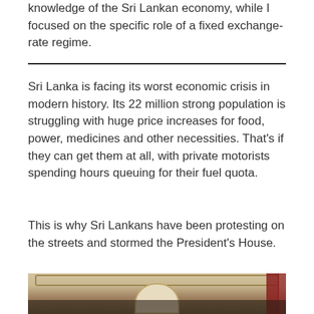knowledge of the Sri Lankan economy, while I focused on the specific role of a fixed exchange-rate regime.
Sri Lanka is facing its worst economic crisis in modern history. Its 22 million strong population is struggling with huge price increases for food, power, medicines and other necessities. That's if they can get them at all, with private motorists spending hours queuing for their fuel quota.
This is why Sri Lankans have been protesting on the streets and stormed the President's House.
[Figure (photo): Interior of the President's House in Sri Lanka, showing a grand hall with arched doorways, ornate ceiling decorations, red curtains, and crowds of people inside.]